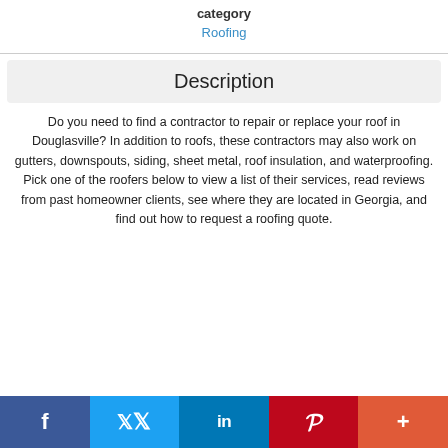category
Roofing
Description
Do you need to find a contractor to repair or replace your roof in Douglasville? In addition to roofs, these contractors may also work on gutters, downspouts, siding, sheet metal, roof insulation, and waterproofing. Pick one of the roofers below to view a list of their services, read reviews from past homeowner clients, see where they are located in Georgia, and find out how to request a roofing quote.
f  twitter  in  P  +